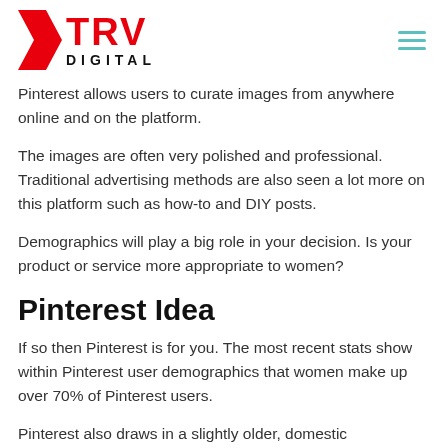TRV DIGITAL
Pinterest allows users to curate images from anywhere online and on the platform.
The images are often very polished and professional. Traditional advertising methods are also seen a lot more on this platform such as how-to and DIY posts.
Demographics will play a big role in your decision. Is your product or service more appropriate to women?
Pinterest Idea
If so then Pinterest is for you. The most recent stats show within Pinterest user demographics that women make up over 70% of Pinterest users.
Pinterest also draws in a slightly older, domestic demographic.